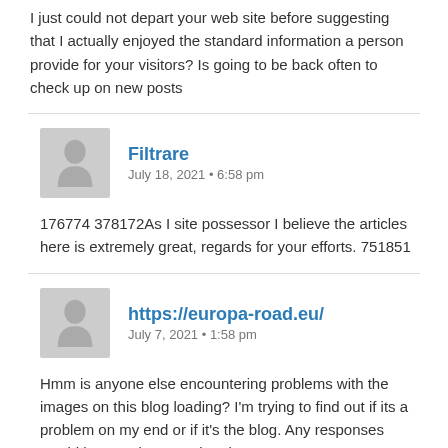I just could not depart your web site before suggesting that I actually enjoyed the standard information a person provide for your visitors? Is going to be back often to check up on new posts
Filtrare
July 18, 2021 • 6:58 pm
176774 378172As I site possessor I believe the articles here is extremely great, regards for your efforts. 751851
https://europa-road.eu/
July 7, 2021 • 1:58 pm
Hmm is anyone else encountering problems with the images on this blog loading? I'm trying to find out if its a problem on my end or if it's the blog. Any responses would be greatly appreciated.